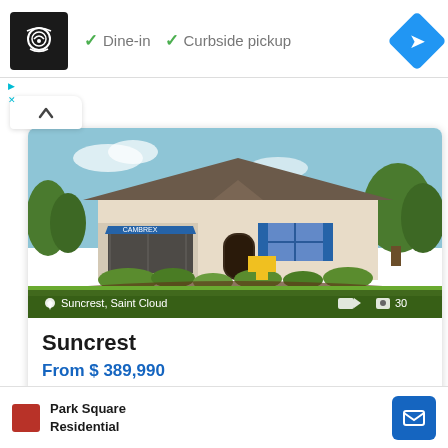[Figure (screenshot): Ad banner with chef logo, Dine-in and Curbside pickup checkmarks, and navigation diamond icon]
▶ ×
[Figure (photo): Exterior photo of Suncrest model home with blue awning, landscaping, and green lawn. Location label: Suncrest, Saint Cloud. Icons: video and 30 photos.]
Suncrest
From $ 389,990
Suncrest new Single Family style homes in Saint Cloud, FL the
Park Square Residential